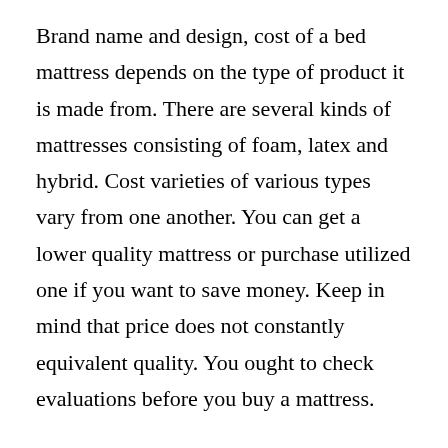Brand name and design, cost of a bed mattress depends on the type of product it is made from. There are several kinds of mattresses consisting of foam, latex and hybrid. Cost varieties of various types vary from one another. You can get a lower quality mattress or purchase utilized one if you want to save money. Keep in mind that price does not constantly equivalent quality. You ought to check evaluations before you buy a mattress.
The kind of product utilized in a bed mattress determines its expense. Natural